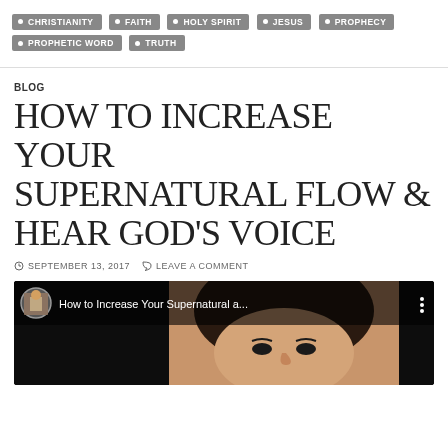• CHRISTIANITY
• FAITH
• HOLY SPIRIT
• JESUS
• PROPHECY
• PROPHETIC WORD
• TRUTH
BLOG
HOW TO INCREASE YOUR SUPERNATURAL FLOW & HEAR GOD'S VOICE
SEPTEMBER 13, 2017   LEAVE A COMMENT
[Figure (screenshot): YouTube video thumbnail showing a woman's face with dark hair against a light background. The video title bar at the top reads 'How to Increase Your Supernatural a...' with a circular avatar image of a speaker at a podium on the left and three-dot menu on the right.]